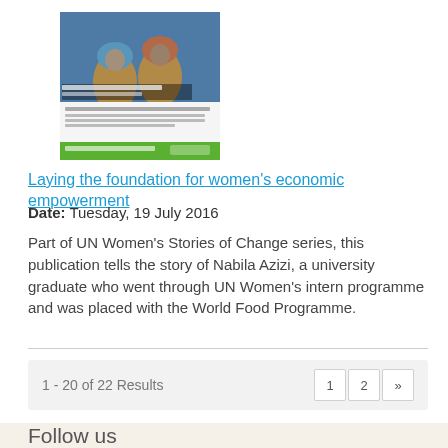[Figure (screenshot): Thumbnail image of a publication cover showing two women in headscarves with text and a green banner]
Laying the foundation for women's economic empowerment
Date: Tuesday, 19 July 2016
Part of UN Women's Stories of Change series, this publication tells the story of Nabila Azizi, a university graduate who went through UN Women's intern programme and was placed with the World Food Programme.
1 - 20 of 22 Results
Follow us